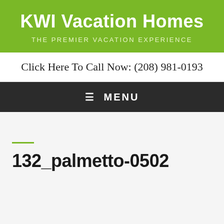KWI Vacation Homes
THE PREMIER VACATION EXPERIENCE
Click Here To Call Now: (208) 981-0193
≡ MENU
132_palmetto-0502